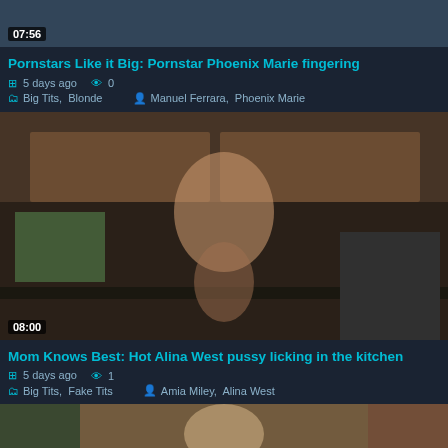[Figure (screenshot): Video thumbnail with duration 07:56 overlay]
Pornstars Like it Big: Pornstar Phoenix Marie fingering
5 days ago  0
Big Tits,  Blonde   Manuel Ferrara,  Phoenix Marie
[Figure (photo): Video thumbnail showing kitchen scene with duration 08:00 overlay]
Mom Knows Best: Hot Alina West pussy licking in the kitchen
5 days ago  1
Big Tits,  Fake Tits   Amia Miley,  Alina West
[Figure (photo): Video thumbnail partially visible at bottom of page]